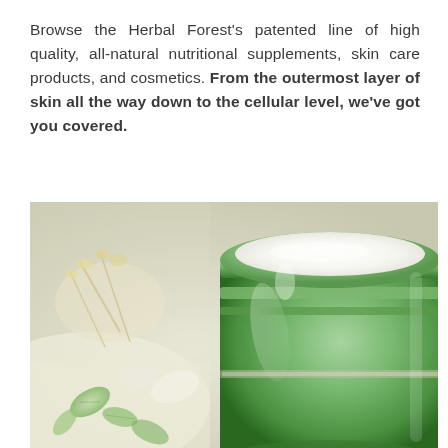Browse the Herbal Forest's patented line of high quality, all-natural nutritional supplements, skin care products, and cosmetics. From the outermost layer of skin all the way down to the cellular level, we've got you covered.
[Figure (photo): Close-up photo of an open green glass jar of cream/cosmetic product, with herbs and green leaves scattered around it on a light surface.]